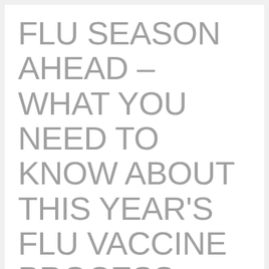FLU SEASON AHEAD – WHAT YOU NEED TO KNOW ABOUT THIS YEAR'S FLU VACCINE PROCESS
Mission Health recognizes that getting an annual flu vaccine is one of the best ways to protect our patients, community and fellow team members from harm. This season, staff will be required to get their flu shot by 11:59